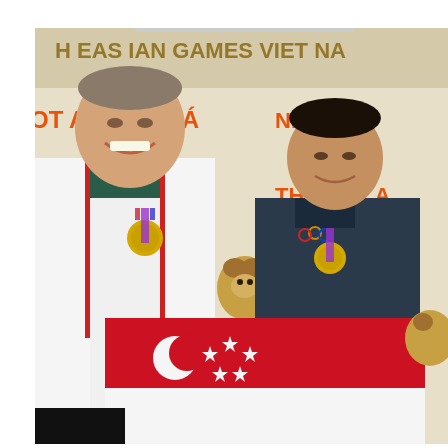[Figure (photo): Two men posing with gold medals and the Singapore national flag (red with white crescent and five stars) in front of a Southeast Asian Games Vietnam banner with orange text. The man on the left is taller, wearing a white jacket and dark sports top with a Yonex logo, smiling broadly. The man on the right is shorter, wearing a dark sports top with an Olympic logo, also smiling. Both hold up their medals with one hand and hold stuffed animal mascots (squirrel/deer). The banner behind them reads 'SOUTH EAST ASIAN GAMES VIET NA...' and 'ÁNH MÊ H...' in orange letters on a light beige background.]